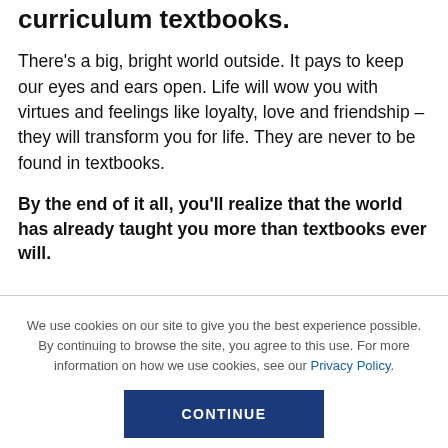curriculum textbooks.
There's a big, bright world outside. It pays to keep our eyes and ears open. Life will wow you with virtues and feelings like loyalty, love and friendship – they will transform you for life. They are never to be found in textbooks.
By the end of it all, you'll realize that the world has already taught you more than textbooks ever will.
We use cookies on our site to give you the best experience possible. By continuing to browse the site, you agree to this use. For more information on how we use cookies, see our Privacy Policy.
CONTINUE